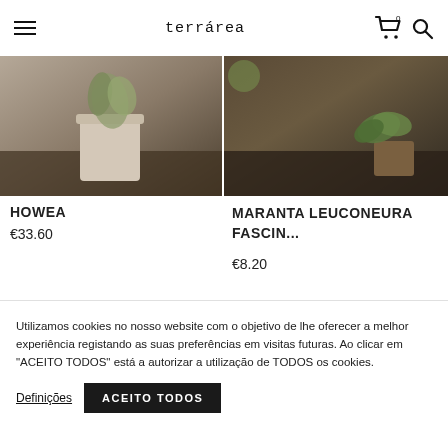terrárea
[Figure (photo): Product photo of Howea plant in a white/beige pot on wooden surface]
HOWEA
€33.60
[Figure (photo): Product photo of Maranta leuconeura fascinator plant on wooden surface]
MARANTA LEUCONEURA FASCIN...
€8.20
Utilizamos cookies no nosso website com o objetivo de lhe oferecer a melhor experiência registando as suas preferências em visitas futuras. Ao clicar em "ACEITO TODOS" está a autorizar a utilização de TODOS os cookies.
Definições
ACEITO TODOS